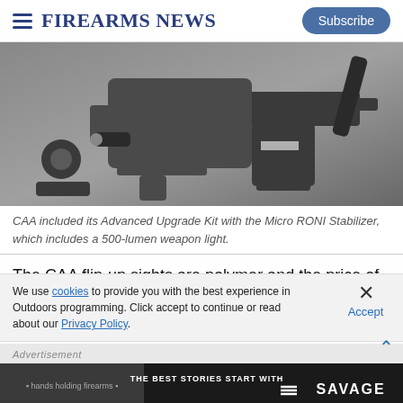Firearms News | Subscribe
[Figure (photo): CAA Micro RONI Stabilizer components with handgun and accessories laid out, including weapon light attachment]
CAA included its Advanced Upgrade Kit with the Micro RONI Stabilizer, which includes a 500-lumen weapon light.
The CAA flip-up sights are polymer and the price of Magpul BUIS sights without the quality. The polymer thumb rests are
We use cookies to provide you with the best experience in Outdoors programming. Click accept to continue or read about our Privacy Policy.
Advertisement
[Figure (photo): THE BEST STORIES START WITH SAVAGE - advertisement banner with dark background and people holding firearms]